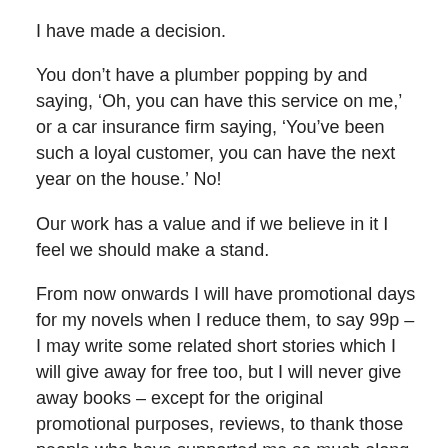I have made a decision.
You don’t have a plumber popping by and saying, ‘Oh, you can have this service on me,’ or a car insurance firm saying, ‘You’ve been such a loyal customer, you can have the next year on the house.’ No!
Our work has a value and if we believe in it I feel we should make a stand.
From now onwards I will have promotional days for my novels when I reduce them, to say 99p – I may write some related short stories which I will give away for free too, but I will never give away books – except for the original promotional purposes, reviews, to thank those people who have supported me so much along the way or for a competition or special giveaway when a signed novel is